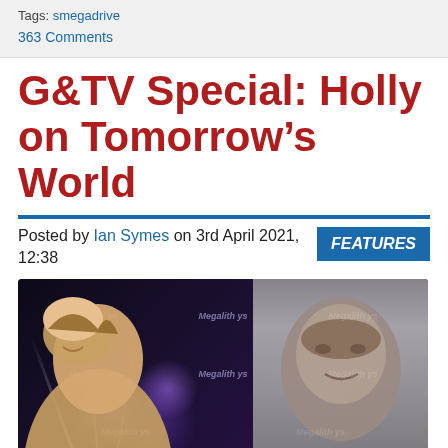Tags: smegadrive
363 Comments
G&TV Special: Holly on Tomorrow’s World
Posted by Ian Symes on 3rd April 2021, 12:38
FEATURES
[Figure (photo): A woman with blonde hair smiling in front of a purple-lit stage backdrop with repeated text patterns, and a man's face visible in the upper right on a screen or backdrop]
[Figure (other): Partial yellow/gold circular shape at bottom of page]